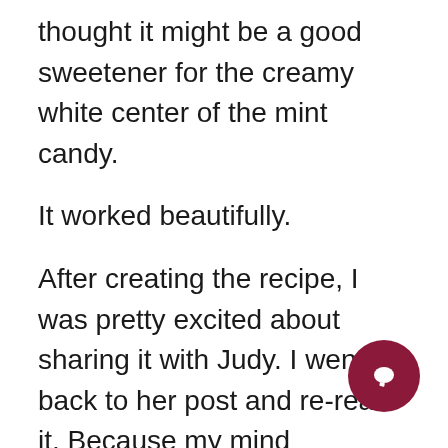thought it might be a good sweetener for the creamy white center of the mint candy.
It worked beautifully.
After creating the recipe, I was pretty excited about sharing it with Judy. I went back to her post and re-read it. Because my mind automatically goes to how I can fix people's problems, I naturally thought about making a Junior Mint alternative. The last part of her post completely escaped me.
“I dislike artificial sweeteners and stevia, and such so don’t recommend them. Has anyone ever been able to manage themselves